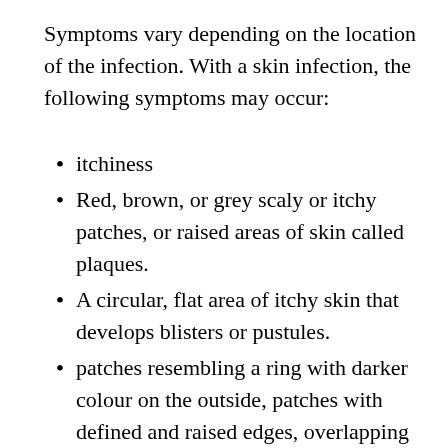Symptoms vary depending on the location of the infection. With a skin infection, the following symptoms may occur:
itchiness
Red, brown, or grey scaly or itchy patches, or raised areas of skin called plaques.
A circular, flat area of itchy skin that develops blisters or pustules.
patches resembling a ring with darker colour on the outside, patches with defined and raised edges, overlapping rings hair loss